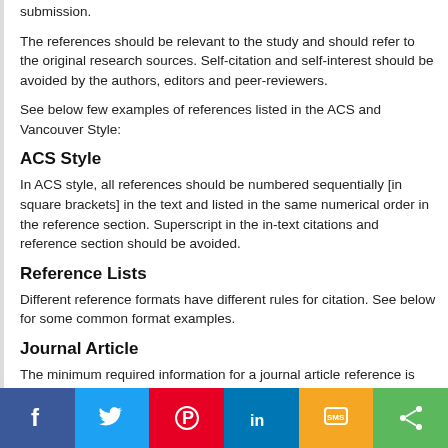submission.
The references should be relevant to the study and should refer to the original research sources. Self-citation and self-interest should be avoided by the authors, editors and peer-reviewers.
See below few examples of references listed in the ACS and Vancouver Style:
ACS Style
In ACS style, all references should be numbered sequentially [in square brackets] in the text and listed in the same numerical order in the reference section. Superscript in the in-text citations and reference section should be avoided.
Reference Lists
Different reference formats have different rules for citation. See below for some common format examples.
Journal Article
The minimum required information for a journal article reference is author, abbreviated journal title, year, publication, volume number, and initial page of cited